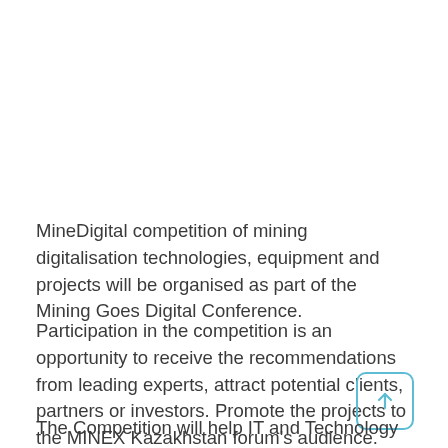MineDigital competition of mining digitalisation technologies, equipment and projects will be organised as part of the Mining Goes Digital Conference.
Participation in the competition is an opportunity to receive the recommendations from leading experts, attract potential clients, partners or investors. Promote the projects to the MINEX Kazakhstan forum's audience.
The Competition will help IT and Technology companies,